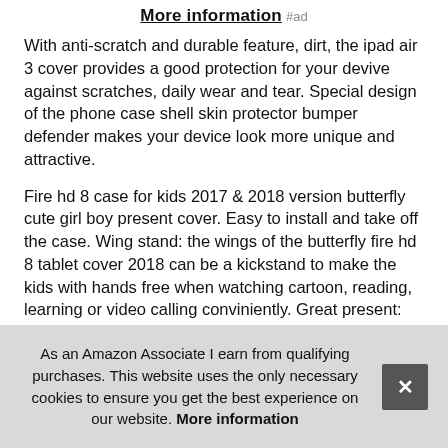More information #ad
With anti-scratch and durable feature, dirt, the ipad air 3 cover provides a good protection for your devive against scratches, daily wear and tear. Special design of the phone case shell skin protector bumper defender makes your device look more unique and attractive.
Fire hd 8 case for kids 2017 & 2018 version butterfly cute girl boy present cover. Easy to install and take off the case. Wing stand: the wings of the butterfly fire hd 8 tablet cover 2018 can be a kickstand to make the kids with hands free when watching cartoon, reading, learning or video calling conviniently. Great present: this lovely and cute fire hd 8 2018 cas... son... sho... yea...
As an Amazon Associate I earn from qualifying purchases. This website uses the only necessary cookies to ensure you get the best experience on our website. More information